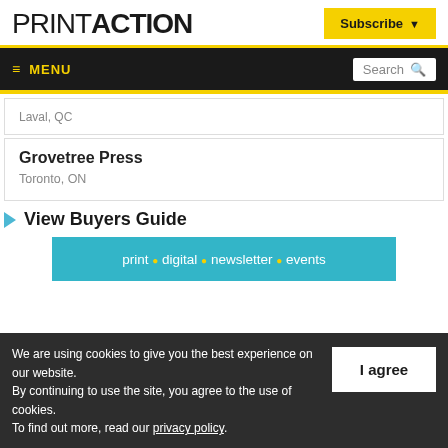PRINTACTION
Subscribe
≡ MENU  Search
Laval, QC
Grovetree Press
Toronto, ON
▶ View Buyers Guide
print • digital • newsletter • events
We are using cookies to give you the best experience on our website. By continuing to use the site, you agree to the use of cookies. To find out more, read our privacy policy.
I agree